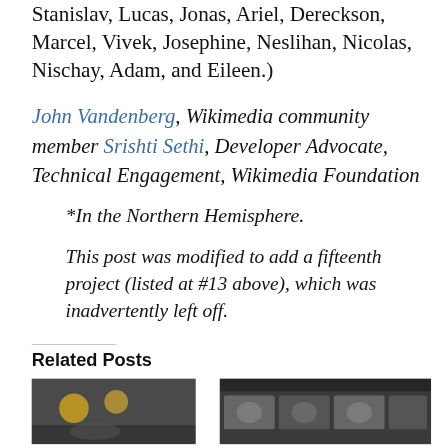Stanislav, Lucas, Jonas, Ariel, Dereckson, Marcel, Vivek, Josephine, Neslihan, Nicolas, Nischay, Adam, and Eileen.)
John Vandenberg, Wikimedia community member Srishti Sethi, Developer Advocate, Technical Engagement, Wikimedia Foundation
*In the Northern Hemisphere.
This post was modified to add a fifteenth project (listed at #13 above), which was inadvertently left off.
Related Posts
[Figure (photo): Thumbnail image for a related post, showing lights and a person]
[Figure (photo): Thumbnail image for a related post, showing people in a group video call]